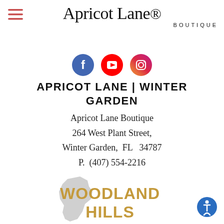[Figure (logo): Apricot Lane Boutique logo with hamburger menu icon on the left]
[Figure (infographic): Social media icons row: Facebook (blue circle), YouTube (red circle), Instagram (gradient circle)]
APRICOT LANE | WINTER GARDEN
Apricot Lane Boutique
264 West Plant Street,
Winter Garden,  FL  34787
P.  (407) 554-2216
[Figure (infographic): Two gold social media icons: Facebook and Instagram]
View Store Details
[Figure (infographic): Woodland Hills location section with California state outline in grey and 'WOODLAND HILLS' text in gold/orange]